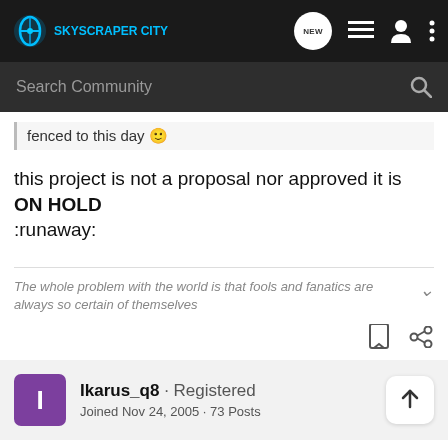SKYSCRAPER CITY
fenced to this day 😊
this project is not a proposal nor approved it is ON HOLD :runaway:
The whole problem with the world is that fools and fanatics are always so certain of themselves
Ikarus_q8 · Registered
Joined Nov 24, 2005 · 73 Posts
#8 · Apr 17, 2006